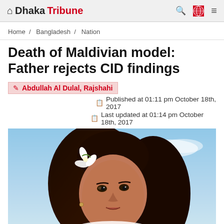Dhaka Tribune
Home / Bangladesh / Nation
Death of Maldivian model: Father rejects CID findings
Abdullah Al Dulal, Rajshahi
Published at 01:11 pm October 18th, 2017
Last updated at 01:14 pm October 18th, 2017
[Figure (photo): Portrait photo of a young dark-haired woman with a white flower in her hair, against a blue sky background, wearing a white top.]